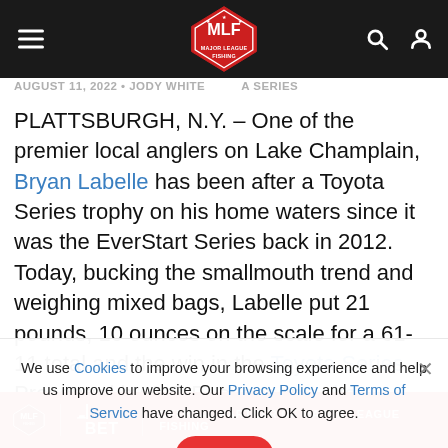MLF Major League Fishing header with navigation
AUGUST 11, 2022 · JODY WHITE · A SERIES
PLATTSBURGH, N.Y. – One of the premier local anglers on Lake Champlain, Bryan Labelle has been after a Toyota Series trophy on his home waters since it was the EverStart Series back in 2012. Today, bucking the smallmouth trend and weighing mixed bags, Labelle put 21 pounds, 10 ounces on the scale for a 61-11 total and the win in the Toyota Series Presented by A.R.E. event on Lake Champlain. For the win, Labelle will take the trophy back to Vermont, along with
We use Cookies to improve your browsing experience and help us improve our website. Our Privacy Policy and Terms of Service have changed. Click OK to agree.
[Figure (infographic): Bassmaster BET Official Partner of Major League Fishing advertisement banner in red]